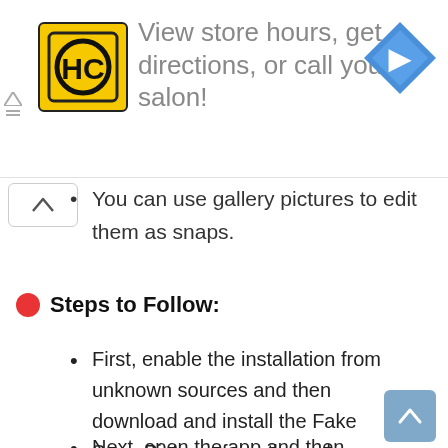[Figure (other): Advertisement banner with HC logo (yellow square with HC text and circular arrow), navigation icon (blue diamond with right arrow), and text: 'View store hours, get directions, or call your salon!']
You can use gallery pictures to edit them as snaps.
Steps to Follow:
First, enable the installation from unknown sources and then download and install the Fake Snap Pictures from the web.
Next, open the app and then